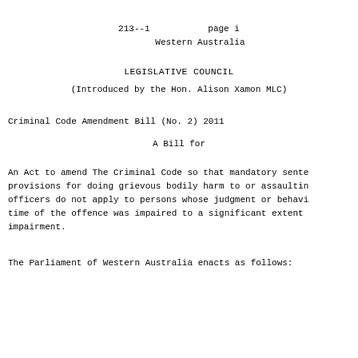213--1          page i
         Western Australia
LEGISLATIVE COUNCIL
(Introduced by the Hon. Alison Xamon MLC)
Criminal Code Amendment Bill (No. 2) 2011
A Bill for
An Act to amend The Criminal Code so that mandatory sente provisions for doing grievous bodily harm to or assaultin officers do not apply to persons whose judgment or behavi time of the offence was impaired to a significant extent impairment.
The Parliament of Western Australia enacts as follows: